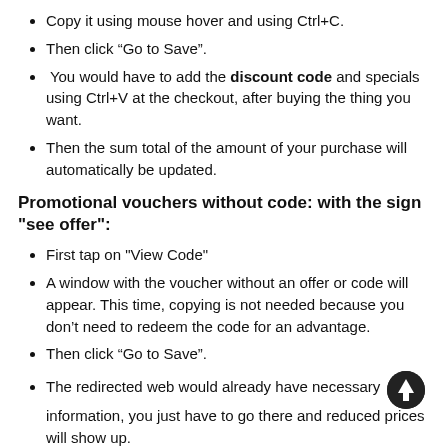Copy it using mouse hover and using Ctrl+C.
Then click “Go to Save”.
You would have to add the discount code and specials using Ctrl+V at the checkout, after buying the thing you want.
Then the sum total of the amount of your purchase will automatically be updated.
Promotional vouchers without code: with the sign "see offer":
First tap on "View Code"
A window with the voucher without an offer or code will appear. This time, copying is not needed because you don’t need to redeem the code for an advantage.
Then click “Go to Save”.
The redirected web would already have necessary information, you just have to go there and reduced prices will show up.
A redirection to the website will enable you to buy